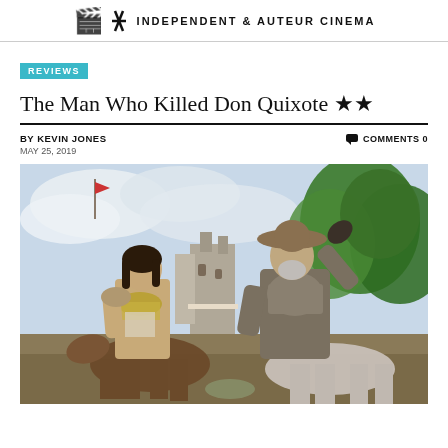INDEPENDENT & AUTEUR CINEMA
REVIEWS
The Man Who Killed Don Quixote ★★
BY KEVIN JONES   COMMENTS 0
MAY 25, 2019
[Figure (photo): Two men on horseback in medieval costumes — one in casual clothes with a scarf, one in knight armor with raised hand — in front of a ruined castle with trees in background.]